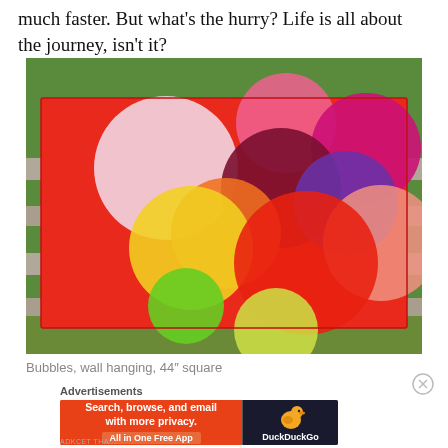much faster. But what's the hurry? Life is all about the journey, isn't it?
[Figure (photo): A colorful quilt with large overlapping circles in pink, white, magenta, dark red, purple, orange, yellow, red, green, salmon, and yellow-green colors, hanging on a wooden fence outdoors with green trees in the background.]
Bubbles, wall hanging, 44″ square
Advertisements
[Figure (screenshot): DuckDuckGo advertisement banner: orange left side reads 'Search, browse, and email with more privacy. All in One Free App', dark right side shows DuckDuckGo duck logo and brand name.]